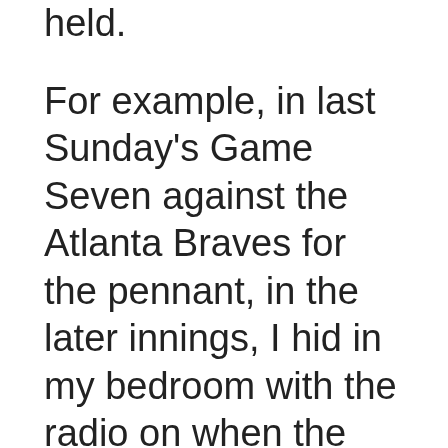held.
For example, in last Sunday's Game Seven against the Atlanta Braves for the pennant, in the later innings, I hid in my bedroom with the radio on when the Braves were batting, then come out to the living room to watch the Dodgers bat.
When the situation is extremely intense, I can't be still so I drive aimlessly. listening to the game on